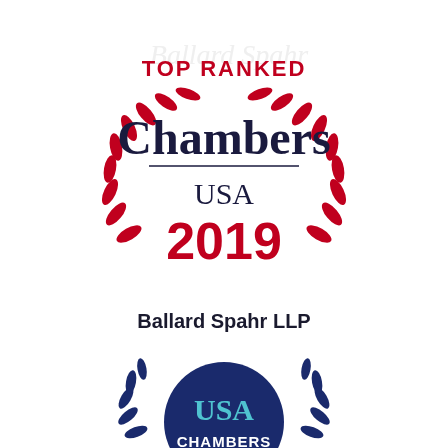[Figure (logo): Chambers USA 2019 Top Ranked badge with red laurel wreath, 'TOP RANKED' in red, 'Chambers' in dark navy serif, 'USA' in dark navy, '2019' in red bold, and faint 'Ballard Spahr' watermark text in background]
Ballard Spahr LLP
[Figure (logo): Chambers USA Top Ranked circular badge with dark navy circle background, 'USA' in teal and 'CHAMBERS' in white text, surrounded by dark blue laurel leaves, 'TOP RANKED' curved text in dark blue above]